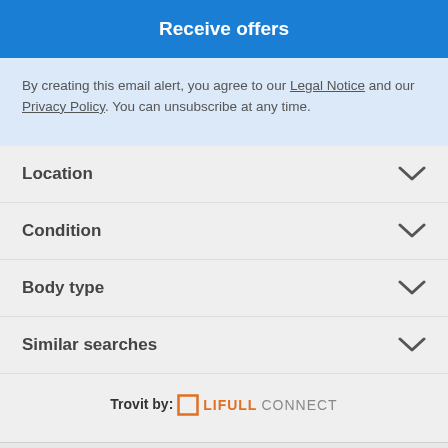Receive offers
By creating this email alert, you agree to our Legal Notice and our Privacy Policy. You can unsubscribe at any time.
Location
Condition
Body type
Similar searches
Trovit by: LIFULL CONNECT
Help · Privacy Policy · Cookie Policy · Legal Notice